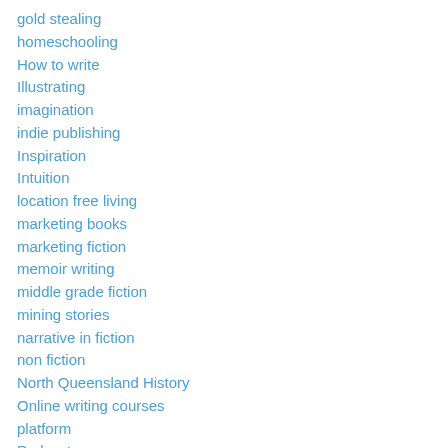gold stealing
homeschooling
How to write
Illustrating
imagination
indie publishing
Inspiration
Intuition
location free living
marketing books
marketing fiction
memoir writing
middle grade fiction
mining stories
narrative in fiction
non fiction
North Queensland History
Online writing courses
platform
Podcasts